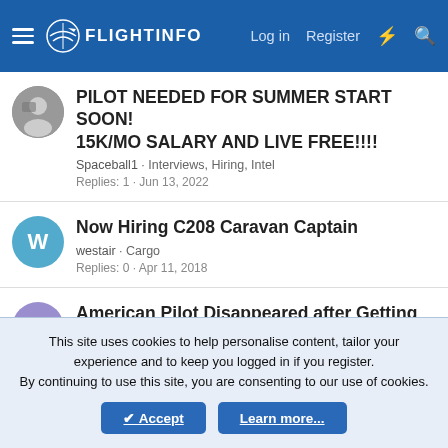FlightInfo — Log in  Register
PILOT NEEDED FOR SUMMER START SOON! 15K/MO SALARY AND LIVE FREE!!!!
Spaceball1 · Interviews, Hiring, Intel
Replies: 1 · Jun 13, 2022
Now Hiring C208 Caravan Captain
westair · Cargo
Replies: 0 · Apr 11, 2018
American Pilot Disappeared after Getting New Type Rating
daniellewis · Airline Pilot & Corporate Pilot Discussion
Replies: 11 · Sep 19, 2019
This site uses cookies to help personalise content, tailor your experience and to keep you logged in if you register.
By continuing to use this site, you are consenting to our use of cookies.